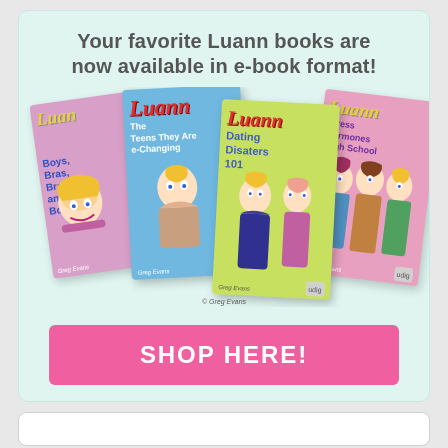Your favorite Luann books are now available in e-book format!
[Figure (illustration): Four Luann comic book covers displayed in a fan arrangement: 'Boys, Bras, Braces and Boys' (pink/purple), 'The Teens They Are e-Changing' (blue), 'Dating Disasters 101' (green/yellow), and 'Stress Hormones High School' (pink). All by Greg Evans.]
SHOP HERE!